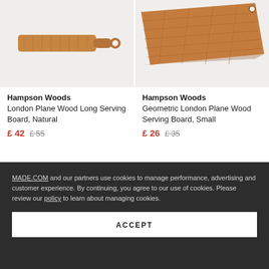[Figure (photo): London Plane Wood Long Serving Board with handle, natural wood color, on light grey background]
[Figure (photo): Geometric London Plane Wood Serving Board, rectangular with textured surface, on light grey background]
Hampson Woods
London Plane Wood Long Serving Board, Natural
£ 42  £ 55
Hampson Woods
Geometric London Plane Wood Serving Board, Small
£ 26  £ 35
MADE.COM and our partners use cookies to manage performance, advertising and customer experience. By continuing, you agree to our use of cookies. Please review our policy to learn about managing cookies.
ACCEPT